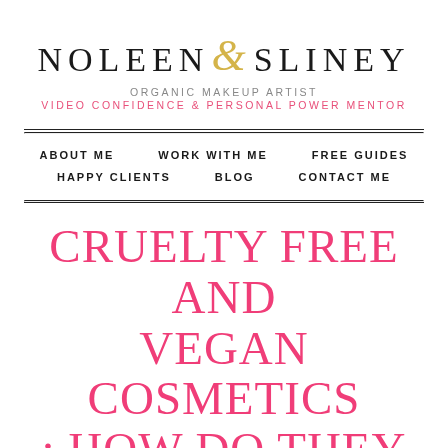NOLEEN & SLINEY | ORGANIC MAKEUP ARTIST | VIDEO CONFIDENCE & PERSONAL POWER MENTOR
ABOUT ME   WORK WITH ME   FREE GUIDES   HAPPY CLIENTS   BLOG   CONTACT ME
CRUELTY FREE AND VEGAN COSMETICS : HOW DO THEY DIFFERS